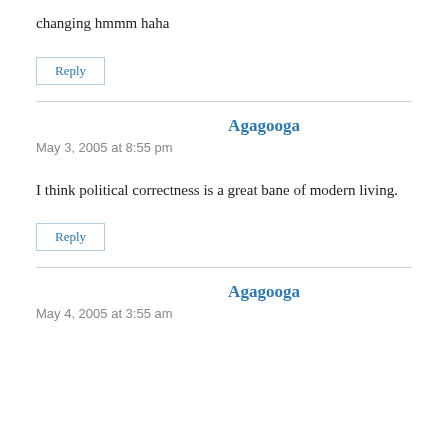changing hmmm haha
Reply
Agagooga
May 3, 2005 at 8:55 pm
I think political correctness is a great bane of modern living.
Reply
Agagooga
May 4, 2005 at 3:55 am